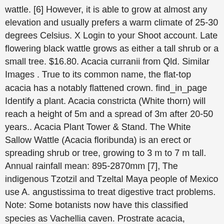wattle. [6] However, it is able to grow at almost any elevation and usually prefers a warm climate of 25-30 degrees Celsius. X Login to your Shoot account. Late flowering black wattle grows as either a tall shrub or a small tree. $16.80. Acacia curranii from Qld. Similar Images . True to its common name, the flat-top acacia has a notably flattened crown. find_in_page Identify a plant. Acacia constricta (White thorn) will reach a height of 5m and a spread of 3m after 20-50 years.. Acacia Plant Tower & Stand. The White Sallow Wattle (Acacia floribunda) is an erect or spreading shrub or tree, growing to 3 m to 7 m tall. Annual rainfall mean: 895-2870mm [7], The indigenous Tzotzil and Tzeltal Maya people of Mexico use A. angustissima to treat digestive tract problems. Note: Some botanists now have this classified species as Vachellia caven. Prostrate acacia, sometimes known as trailing acacia, can be found covering hillsides in southern California. The wood can be used for furniture, fences, charcoal, and firewood. The 1 1/2-inch-wide pink and white flower occurs in a cluster called a corymb on branch tips. Its prickly growth habit serves as a good